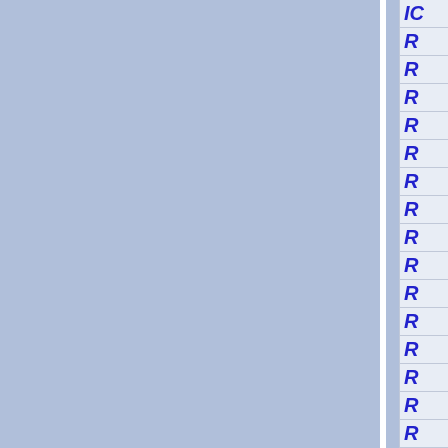[Figure (other): Page layout showing two blue-gray panels separated by a white vertical divider, with a right sidebar containing italic blue letter 'R' entries and one 'IC' entry at the top, separated by horizontal lines.]